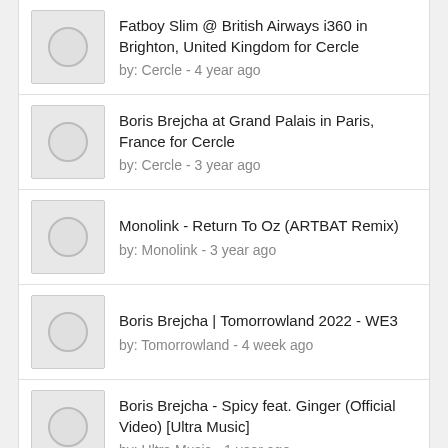Fatboy Slim @ British Airways i360 in Brighton, United Kingdom for Cercle
by: Cercle - 4 year ago
Boris Brejcha at Grand Palais in Paris, France for Cercle
by: Cercle - 3 year ago
Monolink - Return To Oz (ARTBAT Remix)
by: Monolink - 3 year ago
Boris Brejcha | Tomorrowland 2022 - WE3
by: Tomorrowland - 4 week ago
Boris Brejcha - Spicy feat. Ginger (Official Video) [Ultra Music]
by: Ultra Music - 1 year ago
© Copyright 2022 • Codedfilm • All Rights Reserved